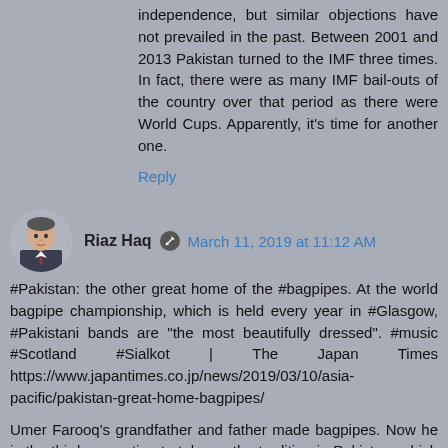independence, but similar objections have not prevailed in the past. Between 2001 and 2013 Pakistan turned to the IMF three times. In fact, there were as many IMF bail-outs of the country over that period as there were World Cups. Apparently, it's time for another one.
Reply
Riaz Haq  March 11, 2019 at 11:12 AM
[Figure (photo): Avatar photo of Riaz Haq, a man in a suit]
#Pakistan: the other great home of the #bagpipes. At the world bagpipe championship, which is held every year in #Glasgow, #Pakistani bands are “the most beautifully dressed”. #music #Scotland #Sialkot | The Japan Times https://www.japantimes.co.jp/news/2019/03/10/asia-pacific/pakistan-great-home-bagpipes/
Umer Farooq’s grandfather and father made bagpipes. Now he is the third generation to take up the tradition in Pakistan, which is thousands of kilometers from Scotland yet sells thousands of bagpipes each year.
The fresh smell of wood floats through the Mid-East factory...